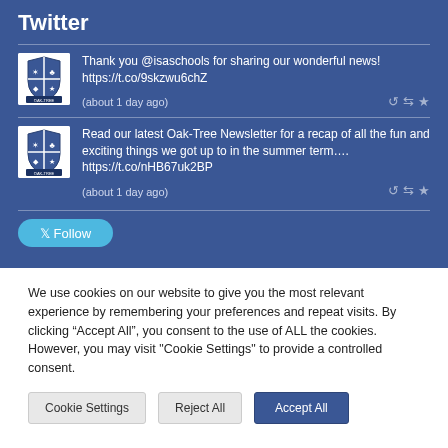Twitter
Thank you @isaschools for sharing our wonderful news! https://t.co/9skzwu6chZ (about 1 day ago)
Read our latest Oak-Tree Newsletter for a recap of all the fun and exciting things we got up to in the summer term…. https://t.co/nHB67uk2BP (about 1 day ago)
We use cookies on our website to give you the most relevant experience by remembering your preferences and repeat visits. By clicking “Accept All”, you consent to the use of ALL the cookies. However, you may visit "Cookie Settings" to provide a controlled consent.